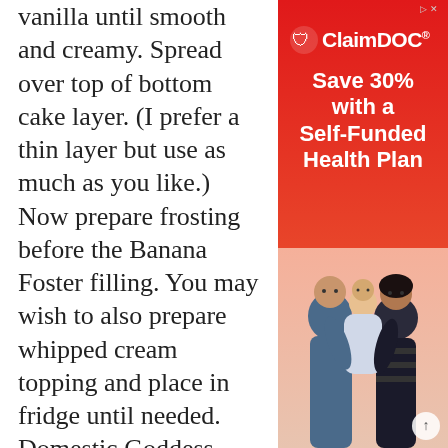vanilla until smooth and creamy. Spread over top of bottom cake layer. (I prefer a thin layer but use as much as you like.) Now prepare frosting before the Banana Foster filling. You may wish to also prepare whipped cream topping and place in fridge until needed. Domestic Goddess Cake 4. Caramel Frosting: In a mixing bowl...
[Figure (infographic): ClaimDOC advertisement banner with red gradient background. Logo at top with eagle/shield icon and 'ClaimDOC' text. Headline reads 'Save 30% with a Self-Funded Health Plan'. Bottom shows photo of a family (man, woman, baby) embracing.]